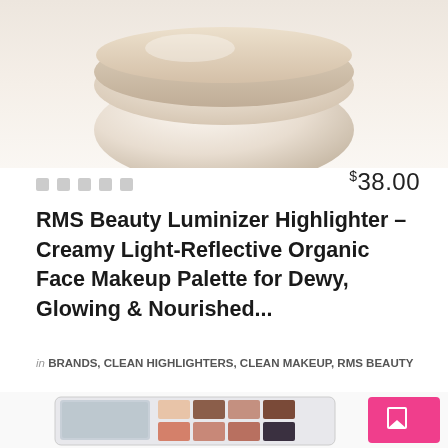[Figure (photo): Top portion of a round glass jar/pot of RMS Beauty Luminizer highlighter product, showing the lid and creamy product inside, on a light background]
$38.00
RMS Beauty Luminizer Highlighter – Creamy Light-Reflective Organic Face Makeup Palette for Dewy, Glowing & Nourished...
in BRANDS, CLEAN HIGHLIGHTERS, CLEAN MAKEUP, RMS BEAUTY
[Figure (photo): Open makeup palette with mirror showing eyeshadow and blush colors in peach, coral, brown, and neutral tones, in a white compact case, with a pink button UI element overlaid]